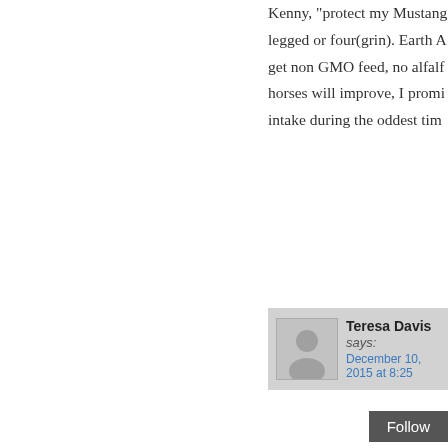Kenny, "protect my Mustang... legged or four(grin). Earth A... get non GMO feed, no alfalfa... horses will improve, I promi... intake during the oddest tim...
Teresa Davis says:
December 10, 2015 at 8:25
Last week driving up 1-5 you could... where the spraying started. You co... our senses. I was out of town from... reality. Everyone is talking about th... without thunder? ever? The pace o... the price of even more sprays. All r... because of the cloud coverage.   W... heavy the rain may be an actual cu... rain…I should say the sprinkle just... big money company didn't already... along with the Pharm...